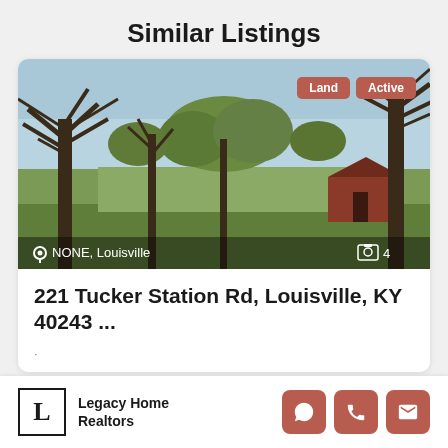Similar Listings
[Figure (photo): Outdoor landscape photo showing a vacant lot with bare trees in winter, green grass field, and a red barn/building in the background. Sky is light blue. Overlaid badges read 'Land' and 'Active'. Bottom bar shows location 'NONE, Louisville' and camera count '4'.]
221 Tucker Station Rd, Louisville, KY 40243 ...
Legacy Home Realtors